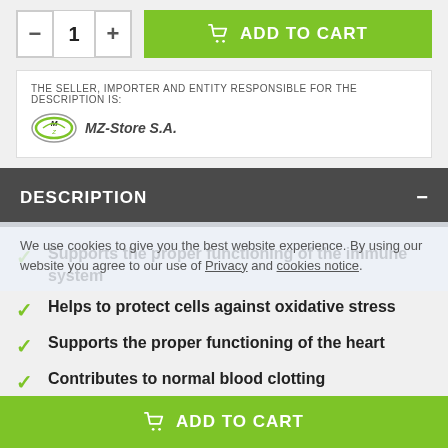[Figure (other): Add to cart UI: quantity selector with minus/plus buttons showing 1, and a green ADD TO CART button with cart icon]
THE SELLER, IMPORTER AND ENTITY RESPONSIBLE FOR THE DESCRIPTION IS:
[Figure (logo): MZ-Store S.A. logo - oval green/black emblem with italic MZ-Store S.A. text]
DESCRIPTION
Supports the proper functioning of the immune system
Helps to protect cells against oxidative stress
Supports the proper functioning of the heart
Contributes to normal blood clotting
[Figure (other): Cookie consent overlay with text: We use cookies to give you the best website experience. By using our website you agree to our use of Privacy and cookies notice.]
[Figure (other): Bottom green ADD TO CART button bar with cart icon]